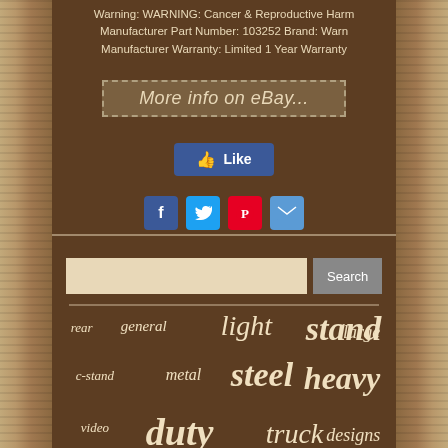Warning: WARNING: Cancer & Reproductive Harm
Manufacturer Part Number: 103252 Brand: Warn
Manufacturer Warranty: Limited 1 Year Warranty
[Figure (screenshot): eBay link button with dashed border saying 'More info on eBay...']
[Figure (screenshot): Facebook Like button (blue)]
[Figure (screenshot): Social sharing icons: Facebook, Twitter, Pinterest, Email]
[Figure (screenshot): Search bar with text input and Search button]
rear  general  light  stand  large  c-stand  metal  steel  heavy  duty  video  truck  designs